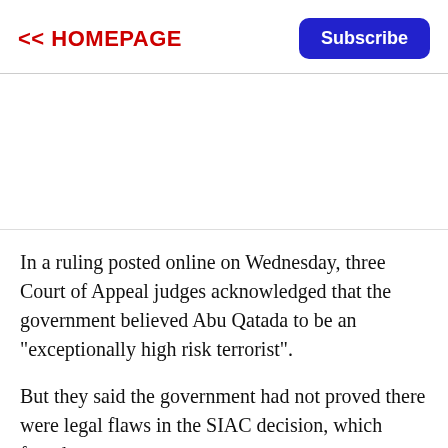<< HOMEPAGE | Subscribe
In a ruling posted online on Wednesday, three Court of Appeal judges acknowledged that the government believed Abu Qatada to be an "exceptionally high risk terrorist".
But they said the government had not proved there were legal flaws in the SIAC decision, which found